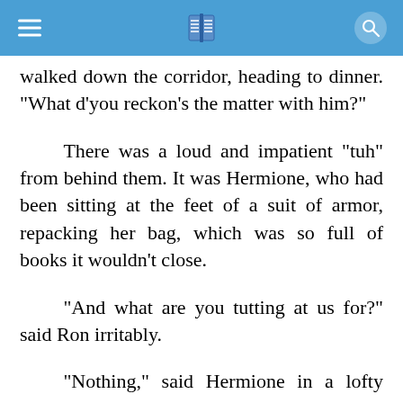App navigation bar with hamburger menu, book icon, and search icon
walked down the corridor, heading to dinner. "What d'you reckon's the matter with him?"
There was a loud and impatient "tuh" from behind them. It was Hermione, who had been sitting at the feet of a suit of armor, repacking her bag, which was so full of books it wouldn't close.
"And what are you tutting at us for?" said Ron irritably.
"Nothing," said Hermione in a lofty voice,